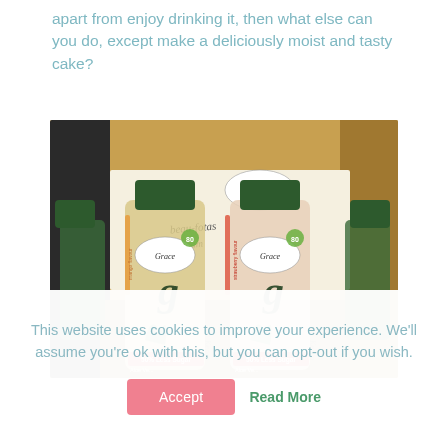apart from enjoy drinking it, then what else can you do, except make a deliciously moist and tasty cake?
[Figure (photo): Two Grace brand 'go' aloe vera drinks with 50% Less Sugar labels, green caps, one mango flavour and one strawberry flavour, in a cardboard box with other bottles, alongside a handwritten note and brown paper bag background.]
This website uses cookies to improve your experience. We'll assume you're ok with this, but you can opt-out if you wish.
Accept
Read More